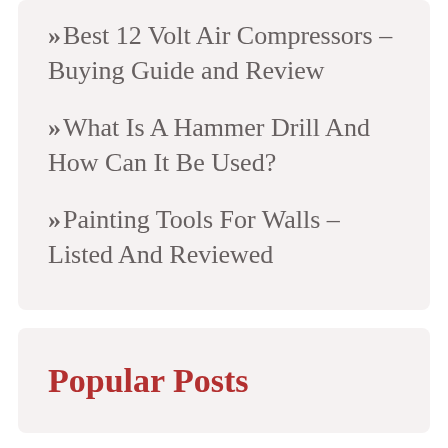>>Best 12 Volt Air Compressors – Buying Guide and Review
>>What Is A Hammer Drill And How Can It Be Used?
>>Painting Tools For Walls – Listed And Reviewed
Popular Posts